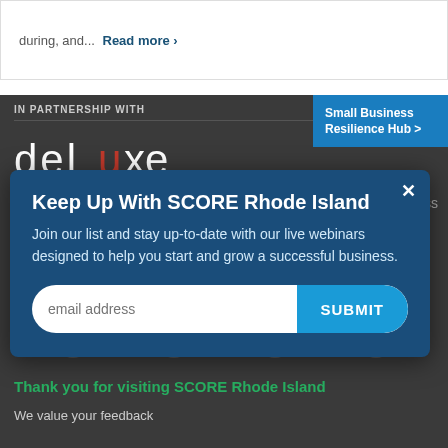during, and... Read more >
IN PARTNERSHIP WITH
[Figure (logo): Deluxe logo in white with red 'x' letter]
[Figure (other): Small Business Resilience Hub > blue button]
Keep Up With SCORE Rhode Island
Join our list and stay up-to-date with our live webinars designed to help you start and grow a successful business.
email address  SUBMIT
[Figure (other): Social media icons row: Facebook, Twitter, LinkedIn, YouTube]
Thank you for visiting SCORE Rhode Island
We value your feedback